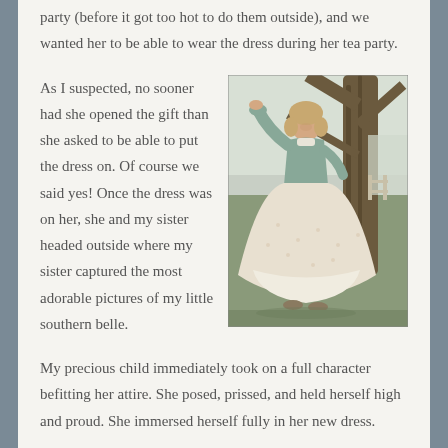party (before it got too hot to do them outside), and we wanted her to be able to wear the dress during her tea party.
As I suspected, no sooner had she opened the gift than she asked to be able to put the dress on. Of course we said yes! Once the dress was on her, she and my sister headed outside where my sister captured the most adorable pictures of my little southern belle.
[Figure (photo): A young girl in a colonial-style dress (light blue top with white full skirt) posing outdoors next to a large tree, smiling]
My precious child immediately took on a full character befitting her attire. She posed, prissed, and held herself high and proud. She immersed herself fully in her new dress.
Meanwhile, there were the chimes. Angela loved the